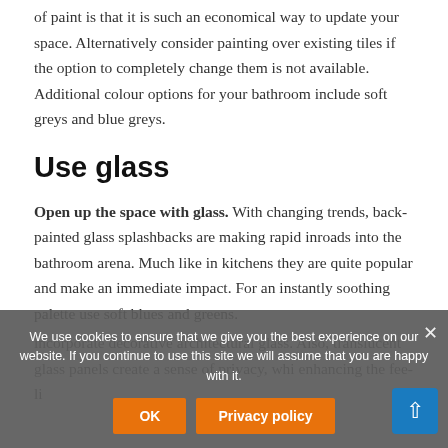of paint is that it is such an economical way to update your space. Alternatively consider painting over existing tiles if the option to completely change them is not available. Additional colour options for your bathroom include soft greys and blue greys.
Use glass
Open up the space with glass. With changing trends, back-painted glass splashbacks are making rapid inroads into the bathroom arena. Much like in kitchens they are quite popular and make an immediate impact. For an instantly soothing palette use soft blues and greens.
incorporate decorative architectural glass. Also, translucent glass panels create a sense of privacy, while enhancing the feel of light
We use cookies to ensure that we give you the best experience on our website. If you continue to use this site we will assume that you are happy with it.